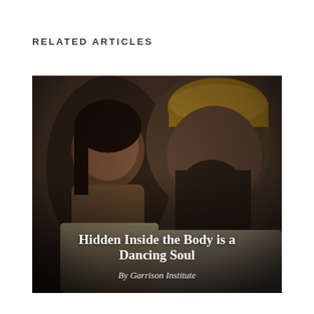RELATED ARTICLES
[Figure (photo): Dark atmospheric photo of two people — a woman with dark hair on the left and a bearded man wearing a mustard/golden cap on the right, both looking toward the camera against a brick wall background. Overlaid text reads 'Hidden Inside the Body is a Dancing Soul' and 'By Garrison Institute'.]